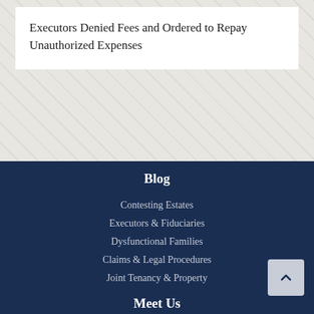Executors Denied Fees and Ordered to Repay Unauthorized Expenses
Blog
Contesting Estates
Executors & Fiduciaries
Dysfunctional Families
Claims & Legal Procedures
Joint Tenancy & Property
Meet Us